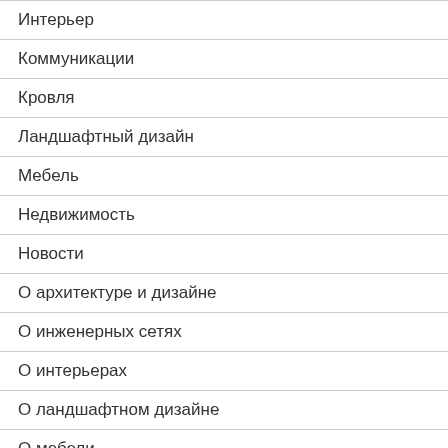Интерьер
Коммуникации
Кровля
Ландшафтный дизайн
Мебель
Недвижимость
Новости
О архитектуре и дизайне
О инженерных сетях
О интерьерах
О ландшафтном дизайне
О мебели
О ремонтах